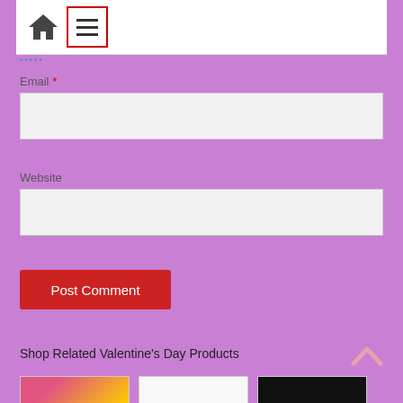[Figure (screenshot): Navigation header bar with home icon and hamburger menu icon inside a red border box]
Email *
[Figure (other): Empty email input field with light gray background]
Website
[Figure (other): Empty website input field with light gray background]
[Figure (other): Post Comment button, red background with white text]
Shop Related Valentine's Day Products
[Figure (other): Three product thumbnail images at bottom — pink/yellow, white blank, dark background]